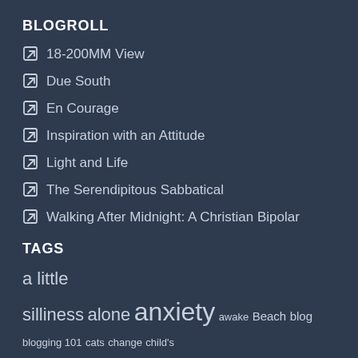BLOGROLL
18-200MM View
Due South
En Courage
Inspiration with an Attitude
Light and Life
The Serendipitous Sabbatical
Walking After Midnight: A Christian Bipolar
TAGS
a little silliness alone anxiety awake Beach blog blogging 101 cats change child's memories Christ Christ follower Christian church Colorado community